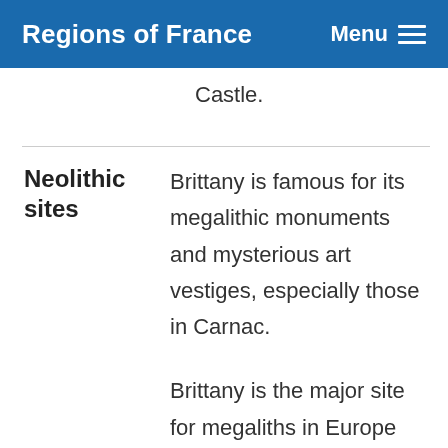Regions of France — Menu
Castle.
Neolithic sites
Brittany is famous for its megalithic monuments and mysterious art vestiges, especially those in Carnac.
Brittany is the major site for megaliths in Europe and possibly the world, with about 3,000 standing stones through